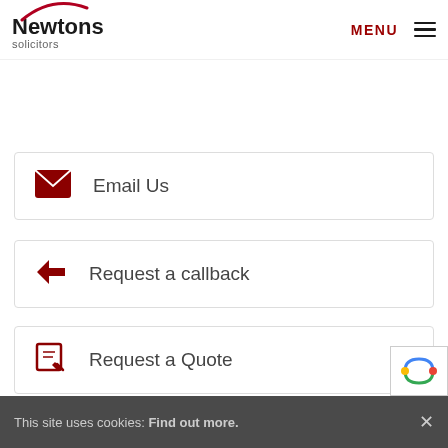Newtons solicitors — MENU
Email Us
Request a callback
Request a Quote
If you are getting torn apart... Newtons will guide you through it
This site uses cookies: Find out more. ×